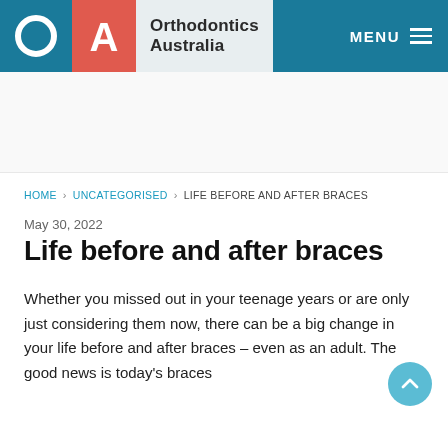[Figure (logo): Orthodontics Australia logo with O and A lettermarks and text]
MENU
HOME > UNCATEGORISED > LIFE BEFORE AND AFTER BRACES
May 30, 2022
Life before and after braces
Whether you missed out in your teenage years or are only just considering them now, there can be a big change in your life before and after braces – even as an adult. The good news is today's braces